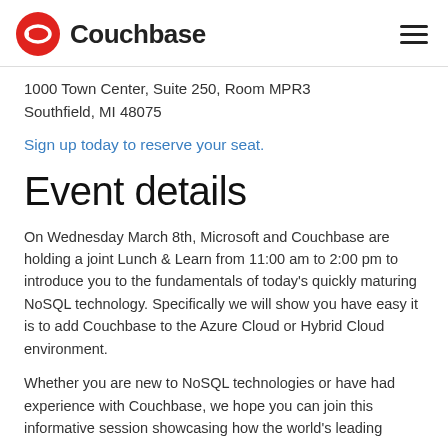Couchbase
1000 Town Center, Suite 250, Room MPR3
Southfield, MI 48075
Sign up today to reserve your seat.
Event details
On Wednesday March 8th, Microsoft and Couchbase are holding a joint Lunch & Learn from 11:00 am to 2:00 pm to introduce you to the fundamentals of today's quickly maturing NoSQL technology. Specifically we will show you have easy it is to add Couchbase to the Azure Cloud or Hybrid Cloud environment.
Whether you are new to NoSQL technologies or have had experience with Couchbase, we hope you can join this informative session showcasing how the world's leading